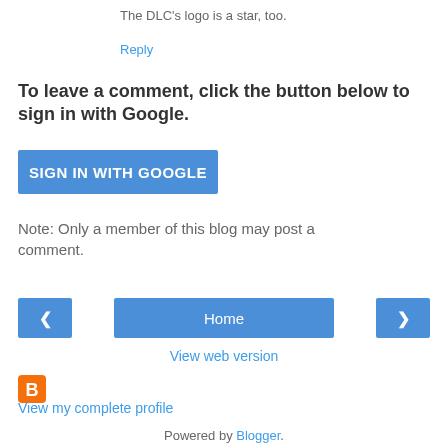The DLC's logo is a star, too.
Reply
To leave a comment, click the button below to sign in with Google.
[Figure (other): Blue 'SIGN IN WITH GOOGLE' button]
Note: Only a member of this blog may post a comment.
[Figure (other): Navigation bar with left arrow button, Home button, and right arrow button]
View web version
[Figure (logo): Blogger orange B logo icon]
View my complete profile
Powered by Blogger.